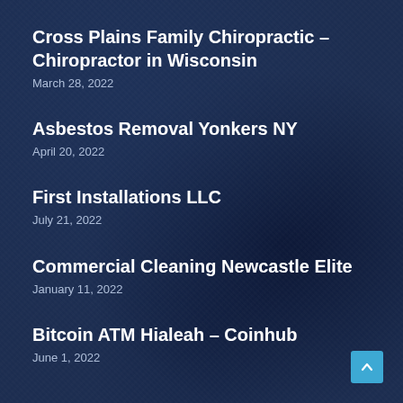Cross Plains Family Chiropractic – Chiropractor in Wisconsin
March 28, 2022
Asbestos Removal Yonkers NY
April 20, 2022
First Installations LLC
July 21, 2022
Commercial Cleaning Newcastle Elite
January 11, 2022
Bitcoin ATM Hialeah – Coinhub
June 1, 2022